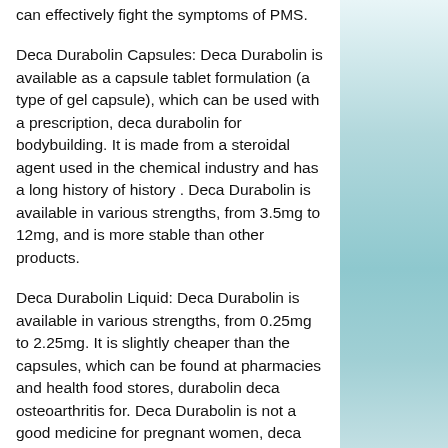can effectively fight the symptoms of PMS.
Deca Durabolin Capsules: Deca Durabolin is available as a capsule tablet formulation (a type of gel capsule), which can be used with a prescription, deca durabolin for bodybuilding. It is made from a steroidal agent used in the chemical industry and has a long history of history . Deca Durabolin is available in various strengths, from 3.5mg to 12mg, and is more stable than other products.
Deca Durabolin Liquid: Deca Durabolin is available in various strengths, from 0.25mg to 2.25mg. It is slightly cheaper than the capsules, which can be found at pharmacies and health food stores, durabolin deca osteoarthritis for. Deca Durabolin is not a good medicine for pregnant women, deca durabolin lek na stawy.